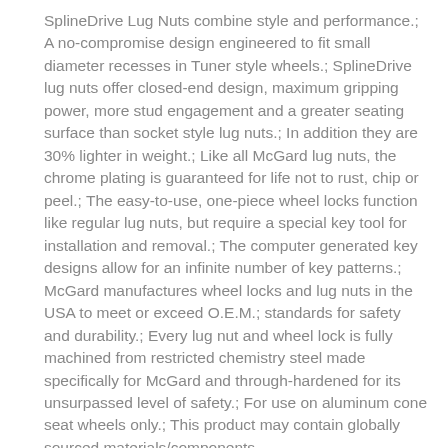SplineDrive Lug Nuts combine style and performance.; A no-compromise design engineered to fit small diameter recesses in Tuner style wheels.; SplineDrive lug nuts offer closed-end design, maximum gripping power, more stud engagement and a greater seating surface than socket style lug nuts.; In addition they are 30% lighter in weight.; Like all McGard lug nuts, the chrome plating is guaranteed for life not to rust, chip or peel.; The easy-to-use, one-piece wheel locks function like regular lug nuts, but require a special key tool for installation and removal.; The computer generated key designs allow for an infinite number of key patterns.; McGard manufactures wheel locks and lug nuts in the USA to meet or exceed O.E.M.; standards for safety and durability.; Every lug nut and wheel lock is fully machined from restricted chemistry steel made specifically for McGard and through-hardened for its unsurpassed level of safety.; For use on aluminum cone seat wheels only.; This product may contain globally sourced materials/components.